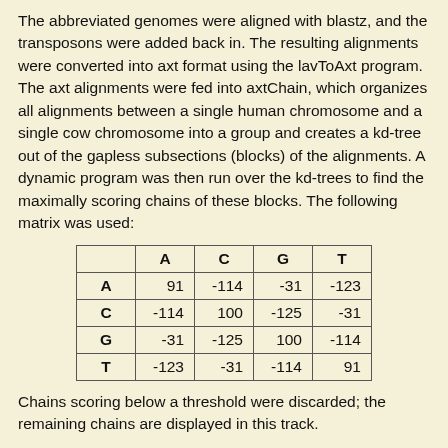The abbreviated genomes were aligned with blastz, and the transposons were added back in. The resulting alignments were converted into axt format using the lavToAxt program. The axt alignments were fed into axtChain, which organizes all alignments between a single human chromosome and a single cow chromosome into a group and creates a kd-tree out of the gapless subsections (blocks) of the alignments. A dynamic program was then run over the kd-trees to find the maximally scoring chains of these blocks. The following matrix was used:
|  | A | C | G | T |
| --- | --- | --- | --- | --- |
| A | 91 | -114 | -31 | -123 |
| C | -114 | 100 | -125 | -31 |
| G | -31 | -125 | 100 | -114 |
| T | -123 | -31 | -114 | 91 |
Chains scoring below a threshold were discarded; the remaining chains are displayed in this track.